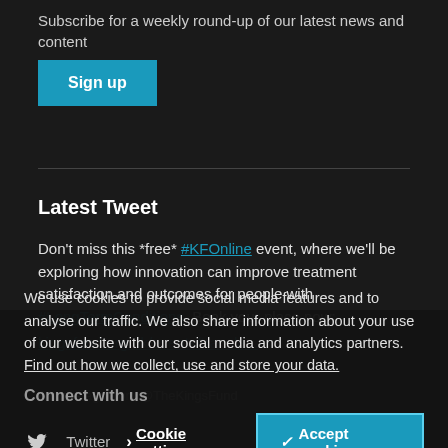Subscribe for a weekly round-up of our latest news and content
Sign up
Latest Tweet
Don't miss this *free* #KFOnline event, where we'll be exploring how innovation can improve treatment satisfaction and outcomes for people with #LongTermConditions. Book your place now: kingsfund.org.uk/events/transla...
8 hours ago from @TheKingsFund
Connect with us
We use cookies to provide social media features and to analyse our traffic. We also share information about your use of our website with our social media and analytics partners. Find out how we collect, use and store your data.
Cookie settings
✓ Accept cookies